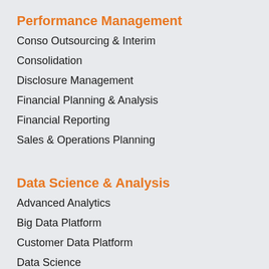Performance Management
Conso Outsourcing & Interim
Consolidation
Disclosure Management
Financial Planning & Analysis
Financial Reporting
Sales & Operations Planning
Data Science & Analysis
Advanced Analytics
Big Data Platform
Customer Data Platform
Data Science